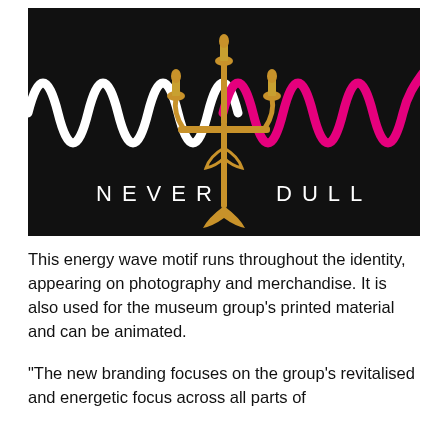[Figure (logo): Black background image with 'NEVER DULL' text in widely spaced white letters across the bottom. Above the text, a sinusoidal wave motif runs across the full width — white waves on the left half, magenta/pink waves on the right half. In the center, a gold ornate candelabra illustration overlays the wave and text.]
This energy wave motif runs throughout the identity, appearing on photography and merchandise. It is also used for the museum group's printed material and can be animated.
“The new branding focuses on the group’s revitalised and energetic focus across all parts of